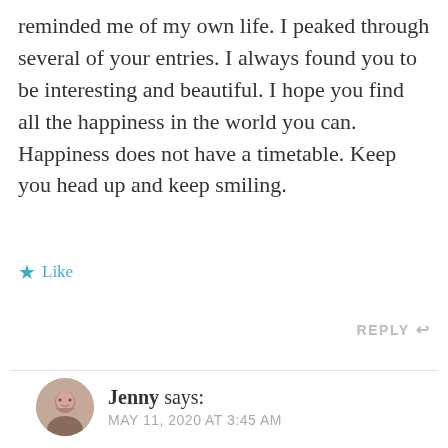reminded me of my own life. I peaked through several of your entries. I always found you to be interesting and beautiful. I hope you find all the happiness in the world you can. Happiness does not have a timetable. Keep you head up and keep smiling.
Like
REPLY
Jenny says:
MAY 11, 2020 AT 3:45 AM
Thank you for your time Rick and I'm happy you enjoyed my writing!